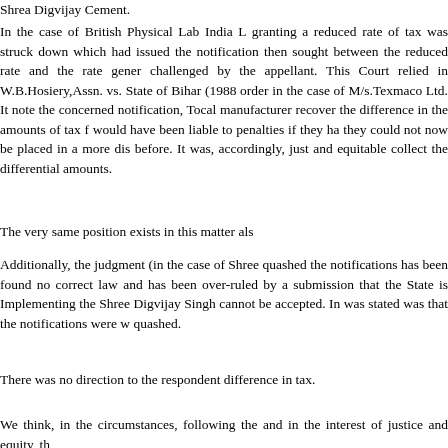Shrea Digvijay Cement.
In the case of British Physical Lab India L granting a reduced rate of tax was struck down which had issued the notification then sought between the reduced rate and the rate gener challenged by the appellant. This Court relied in W.B.Hosiery,Assn. vs. State of Bihar (1988 order in the case of M/s.Texmaco Ltd. It note the concerned notification, Tocal manufacturers recover the difference in the amounts of tax f would have been liable to penalties if they ha they could not now be placed in a more dis before. It was, accordingly, just and equitable collect the differential amounts.
The very same position exists in this matter als
Additionally, the judgment (in the case of Shree quashed the notifications has been found no correct law and has been over-ruled by a submission that the State is Implementing the Shree Digvijay Singh cannot be accepted. In was stated was that the notifications were w quashed.
There was no direction to the respondent difference in tax.
We think, in the circumstances, following the and in the interest of justice and equity, th